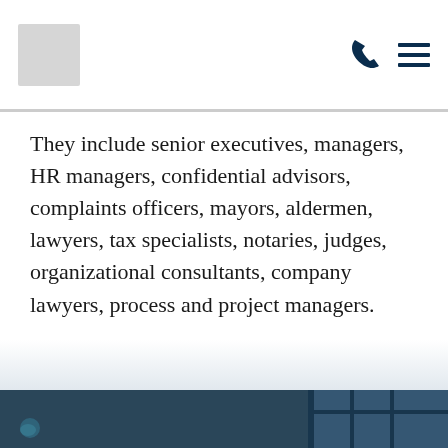[Logo] [Phone icon] [Menu icon]
They include senior executives, managers, HR managers, confidential advisors, complaints officers, mayors, aldermen, lawyers, tax specialists, notaries, judges, organizational consultants, company lawyers, process and project managers.
[Figure (photo): Dark blue-toned photograph showing a door handle and glass door panels, likely office or courthouse setting]